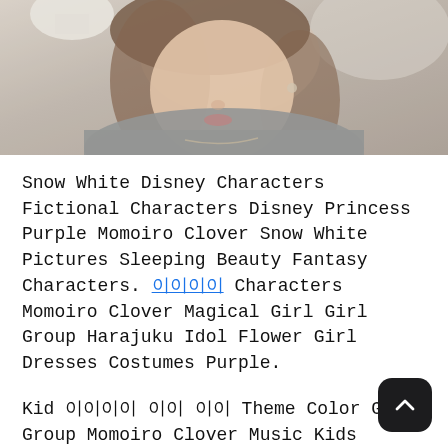[Figure (photo): Close-up photo of a young woman with brown hair, wearing a grey knit top, with soft blurred background including a white table or furniture.]
Snow White Disney Characters Fictional Characters Disney Princess Purple Momoiro Clover Snow White Pictures Sleeping Beauty Fantasy Characters. 이이이이 Characters Momoiro Clover Magical Girl Girl Group Harajuku Idol Flower Girl Dresses Costumes Purple.
Kid 이이이이 이이 이이 Theme Color Girl Group Momoiro Clover Music Kids Musica Yo Children Musik.